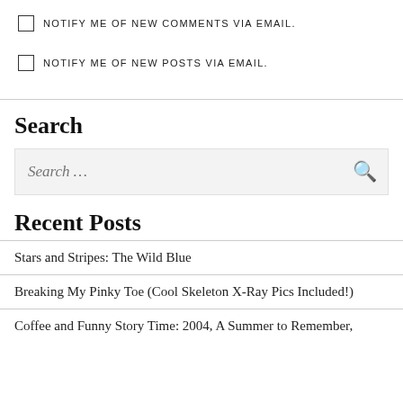NOTIFY ME OF NEW COMMENTS VIA EMAIL.
NOTIFY ME OF NEW POSTS VIA EMAIL.
Search
Search …
Recent Posts
Stars and Stripes: The Wild Blue
Breaking My Pinky Toe (Cool Skeleton X-Ray Pics Included!)
Coffee and Funny Story Time: 2004, A Summer to Remember,